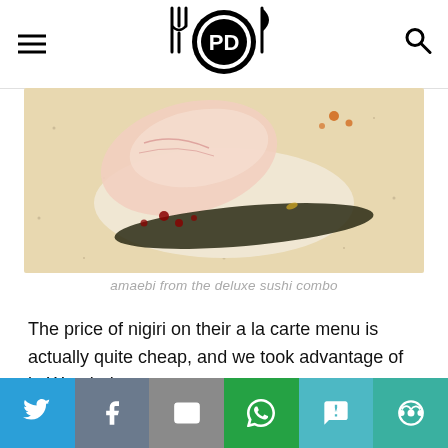PD (food/restaurant blog logo with fork and knife)
[Figure (photo): Close-up photo of amaebi (sweet shrimp) nigiri sushi on a light speckled ceramic plate, with nori seaweed wrap, red sauce dots, and orange droplets visible.]
amaebi from the deluxe sushi combo
The price of nigiri on their a la carte menu is actually quite cheap, and we took advantage of it. We tried